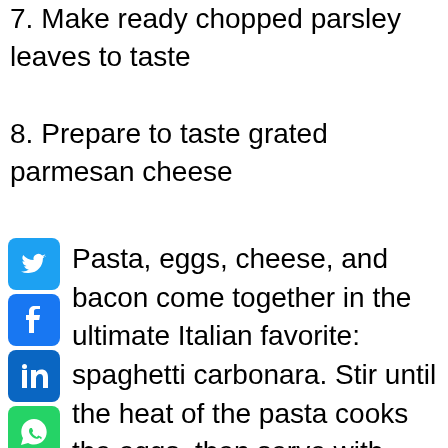7. Make ready chopped parsley leaves to taste
8. Prepare to taste grated parmesan cheese
Pasta, eggs, cheese, and bacon come together in the ultimate Italian favorite: spaghetti carbonara. Stir until the heat of the pasta cooks the eggs, then serve with parsley and ground pepper. A spaghetti carbonara sauce is typically made with bacon, eggs, and cheese. We've added a little half-and-half for a silky texture to this